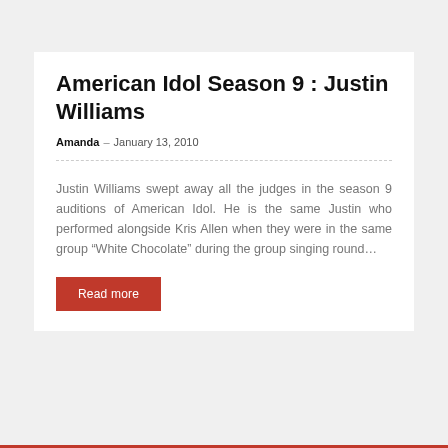American Idol Season 9 : Justin Williams
Amanda – January 13, 2010
Justin Williams swept away all the judges in the season 9 auditions of American Idol. He is the same Justin who performed alongside Kris Allen when they were in the same group “White Chocolate” during the group singing round…
Read more